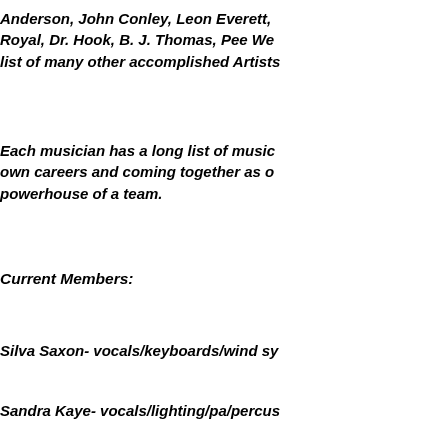Anderson, John Conley, Leon Everett, Royal, Dr. Hook, B. J. Thomas, Pee We list of many other accomplished Artists
Each musician has a long list of music own careers and coming together as o powerhouse of a team.
Current Members:
Silva Saxon- vocals/keyboards/wind sy
Sandra Kaye- vocals/lighting/pa/percus